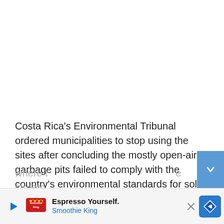Costa Rica's Environmental Tribunal ordered municipalities to stop using the sites after concluding the mostly open-air garbage pits failed to comply with the country's environmental standards for solid waste disposal. The majority of closures are taking place in the provinces of Alajuela and Guanacaste. Affected municipalities now must choose between the expensive option of transporting trash to private facilities, where t[...] e streets[...]
[Figure (other): Advertisement banner for Smoothie King 'Espresso Yourself' with play button, logo, text, and navigation arrow icon]